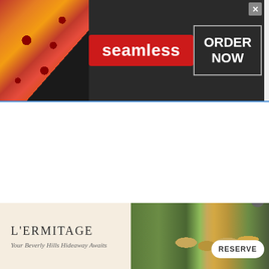[Figure (screenshot): Seamless food delivery advertisement banner showing pizza image on the left, the Seamless logo in red in the center, and an 'ORDER NOW' button on the right, on a dark background]
[Figure (screenshot): L'Ermitage hotel advertisement banner with text 'L'ERMITAGE' and 'Your Beverly Hills Hideaway Awaits' on the left side with a cream background, and a photo of hotel poolside lounge chairs on the right, along with a 'RESERVE' button]